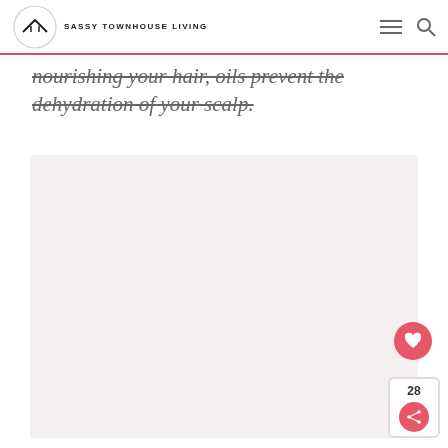SASSY TOWNHOUSE LIVING
nourishing your hair, oils prevent the dehydration of your scalp.
[Figure (photo): Large light pink/beige placeholder image area]
[Figure (other): Heart button and share count widget (28 shares) in bottom right corner]